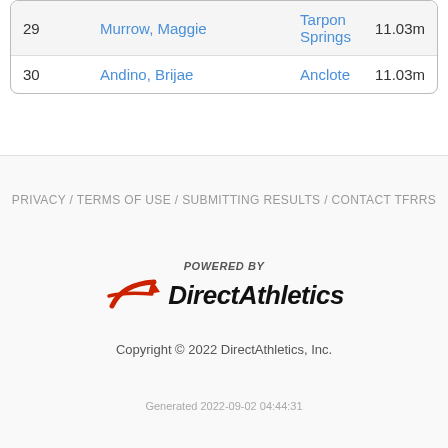| # | Name | School | Result |
| --- | --- | --- | --- |
| 29 | Murrow, Maggie | Tarpon Springs | 11.03m |
| 30 | Andino, Brijae | Anclote | 11.03m |
PRIVACY / TERMS OF USE / SUBMITTING RESULTS / CONTACT TFRRS
[Figure (logo): Powered by Direct Athletics logo with red swoosh/arrow graphic]
Copyright © 2022 DirectAthletics, Inc.
Generated 2022-09-02 04:44:31